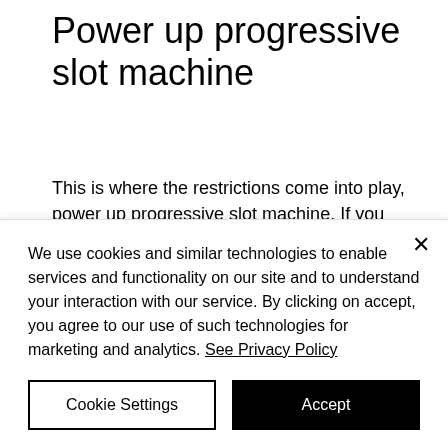Power up progressive slot machine
This is where the restrictions come into play, power up progressive slot machine. If you plan to claim more than one No Deposit Bonus, you will need to make a deposit in between each No Deposit Bonus you claim. For example, lets say the first No Deposit Bonus you claimed was FREE75 and you met your wagering requirement.
We use cookies and similar technologies to enable services and functionality on our site and to understand your interaction with our service. By clicking on accept, you agree to our use of such technologies for marketing and analytics. See Privacy Policy